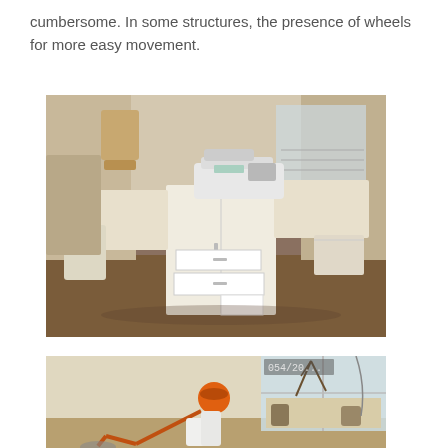cumbersome. In some structures, the presence of wheels for more easy movement.
[Figure (photo): A white sewing table/cabinet with folding wings fully extended, showing a sewing machine on top, open drawers at the bottom, and storage cabinet. Wooden floor, room interior visible.]
[Figure (photo): A room interior showing an orange desk lamp on a table, a window with branches/plant, and various objects on a windowsill. Timestamp overlay '054/20...' visible in upper right area.]